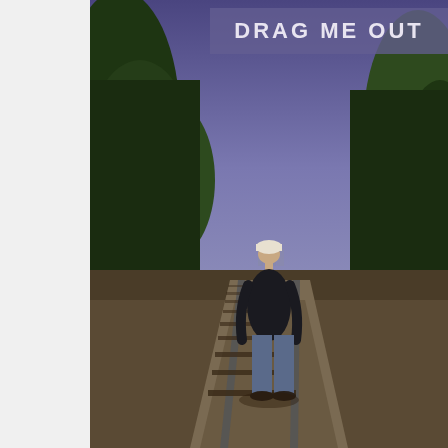[Figure (photo): A person wearing a white cap and dark top with jeans stands on railroad tracks facing away from the camera, looking toward a distant cityscape. Green trees line both sides of the tracks. The sky is a deep blue-purple hue. The image has a retro, film photography aesthetic.]
DRAG ME OUT